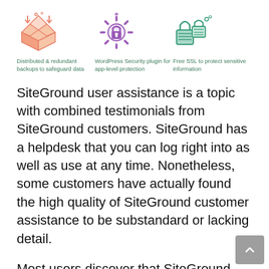[Figure (illustration): Three icons in a row: a box (Distributed & redundant backups to safeguard data), a gear with lock (WordPress Security plugin for app-level protection), and two padlocks (Free SSL to protect sensitive information)]
Distributed & redundant backups to safeguard data
WordPress Security plugin for app-level protection
Free SSL to protect sensitive information
SiteGround user assistance is a topic with combined testimonials from SiteGround customers. SiteGround has a helpdesk that you can log right into as well as use at any time. Nonetheless, some customers have actually found the high quality of SiteGround customer assistance to be substandard or lacking detail.
Most users discover that SiteGround provides sufficient support. There are numerous positive evaluations and also problems about SiteGround's customer care, and many